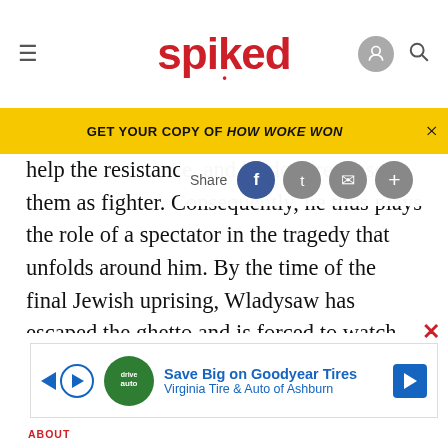spiked
GET YOUR COPY OF HOW WOKE WON
help the resistance, and he does real use to them as fighter. Consequently, he thus plays the role of a spectator in the tragedy that unfolds around him. By the time of the final Jewish uprising, Wladysaw has escaped the ghetto and is forced to watch its bloody defeat from the flat in which he is hiding, a dramatic device that Polanski repeats when the Polish resistance decides to make its stand.
[Figure (screenshot): Advertisement for Goodyear Tires: Save Big on Goodyear Tires, Virginia Tire & Auto of Ashburn]
ABOUT